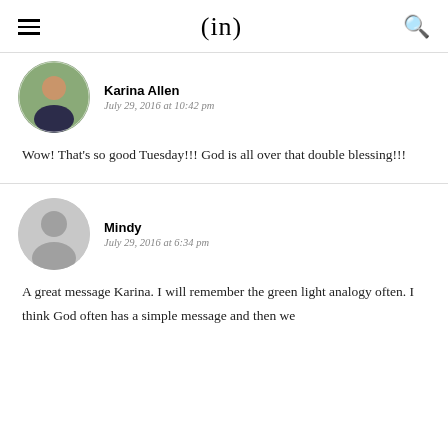(in)
Karina Allen
July 29, 2016 at 10:42 pm
Wow! That's so good Tuesday!!! God is all over that double blessing!!!
Mindy
July 29, 2016 at 6:34 pm
A great message Karina. I will remember the green light analogy often. I think God often has a simple message and then we